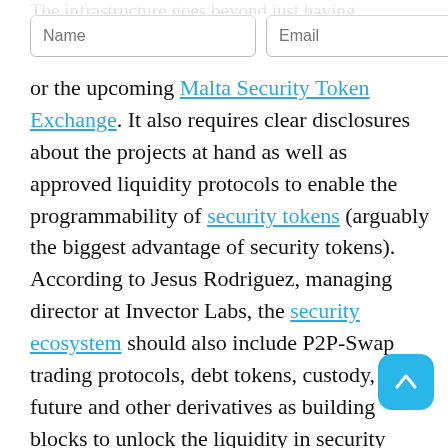The infrastructure goes beyond just having...
or the upcoming Malta Security Token Exchange. It also requires clear disclosures about the projects at hand as well as approved liquidity protocols to enable the programmability of security tokens (arguably the biggest advantage of security tokens). According to Jesus Rodriguez, managing director at Invector Labs, the security ecosystem should also include P2P-Swap trading protocols, debt tokens, custody, future and other derivatives as building blocks to unlock the liquidity in security tokens.
Once the security token ecosystem is in place, it becomes possible to make illiquid assets liquid. Thanks to distributed ledger technology and smart contracts, asset ownership transfer can be automated while adhering to